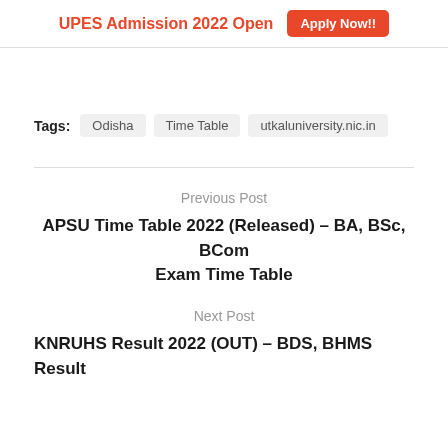UPES Admission 2022 Open   Apply Now!!
Tags:  Odisha  Time Table  utkaluniversity.nic.in
Previous Post
APSU Time Table 2022 (Released) – BA, BSc, BCom Exam Time Table
Next Post
KNRUHS Result 2022 (OUT) – BDS, BHMS Result